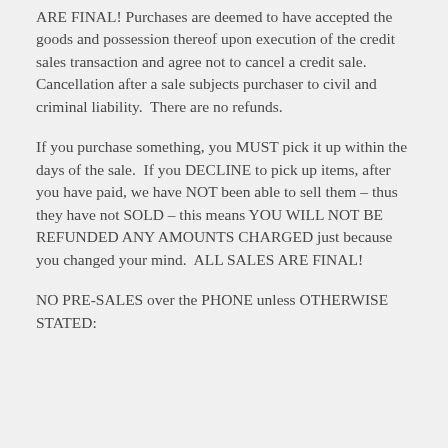ARE FINAL! Purchases are deemed to have accepted the goods and possession thereof upon execution of the credit sales transaction and agree not to cancel a credit sale.  Cancellation after a sale subjects purchaser to civil and criminal liability.  There are no refunds.
If you purchase something, you MUST pick it up within the days of the sale.  If you DECLINE to pick up items, after you have paid, we have NOT been able to sell them – thus they have not SOLD – this means YOU WILL NOT BE REFUNDED ANY AMOUNTS CHARGED just because you changed your mind.  ALL SALES ARE FINAL!
NO PRE-SALES over the PHONE unless OTHERWISE STATED: